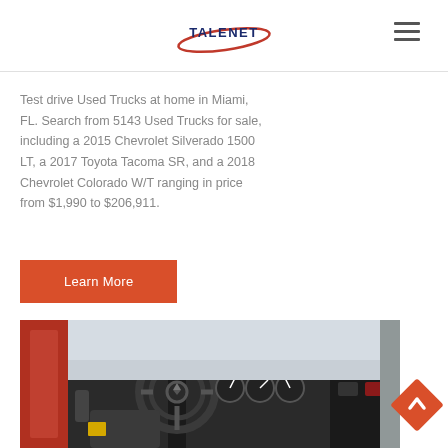[Figure (logo): Talenet logo with red swoosh and dark blue text]
Test drive Used Trucks at home in Miami, FL. Search from 5143 Used Trucks for sale, including a 2015 Chevrolet Silverado 1500 LT, a 2017 Toyota Tacoma SR, and a 2018 Chevrolet Colorado W/T ranging in price from $1,990 to $206,911.
[Figure (other): Orange 'Learn More' button]
[Figure (photo): Interior of a truck cab showing steering wheel, dashboard, and gauges]